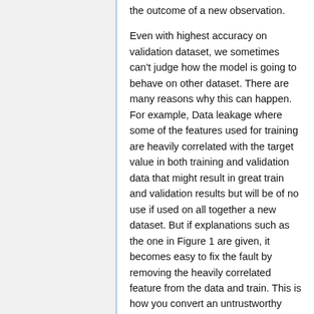the outcome of a new observation. Even with highest accuracy on validation dataset, we sometimes can't judge how the model is going to behave on other dataset. There are many reasons why this can happen. For example, Data leakage where some of the features used for training are heavily correlated with the target value in both training and validation data that might result in great train and validation results but will be of no use if used on all together a new dataset. But if explanations such as the one in Figure 1 are given, it becomes easy to fix the fault by removing the heavily correlated feature from the data and train. This is how you convert an untrustworthy model to a trustworthy one. Another problem is dataset shift, where train and test data come from different distributions, akin to...